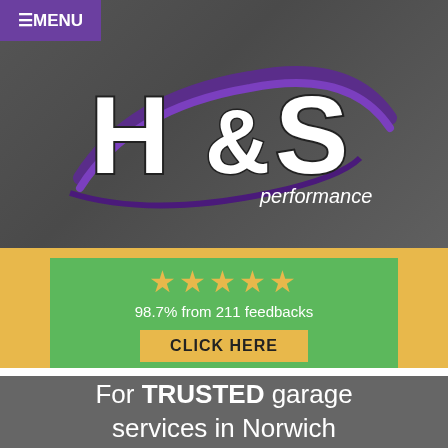[Figure (logo): H&S Performance garage logo with large bold H&S lettering and purple swoosh design, with 'performance' text]
≡MENU
[Figure (infographic): Green card on yellow background showing 5 gold stars, rating text '98.7% from 211 feedbacks', and a yellow 'CLICK HERE' button]
98.7% from 211 feedbacks
CLICK HERE
For TRUSTED garage services in Norwich